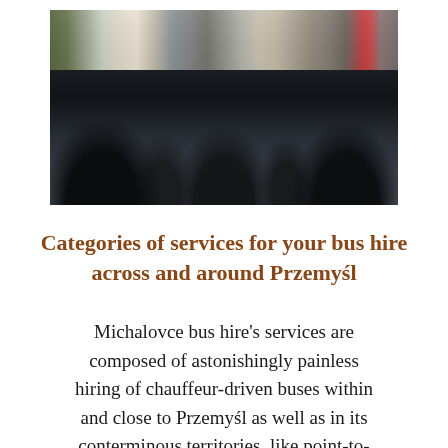[Figure (photo): Interior of a minibus/coach showing dark leather seats arranged in rows, aisle in center, windows on sides letting in light, viewed from the rear toward the front.]
Categories of services for your bus hire across and around Przemyśl
Michalovce bus hire's services are composed of astonishingly painless hiring of chauffeur-driven buses within and close to Przemyśl as well as in its conterminous territories, like point-to-